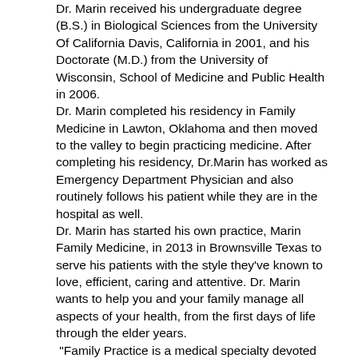Dr. Marin received his undergraduate degree (B.S.) in Biological Sciences from the University Of California Davis, California in 2001, and his Doctorate (M.D.) from the University of Wisconsin, School of Medicine and Public Health in 2006.
Dr. Marin completed his residency in Family Medicine in Lawton, Oklahoma and then moved to the valley to begin practicing medicine. After completing his residency, Dr.Marin has worked as Emergency Department Physician and also routinely follows his patient while they are in the hospital as well.
Dr. Marin has started his own practice, Marin Family Medicine, in 2013 in Brownsville Texas to serve his patients with the style they've known to love, efficient, caring and attentive. Dr. Marin wants to help you and your family manage all aspects of your health, from the first days of life through the elder years.
“Family Practice is a medical specialty devoted to the comprehensive health care for people of all ages. It is a division of primary care that provides continuing and a full circle of care for the individual and family across all ages, sexes, diseases and parts of the body. We focus on you as an individual as well as a member of your family and community, emphasizing